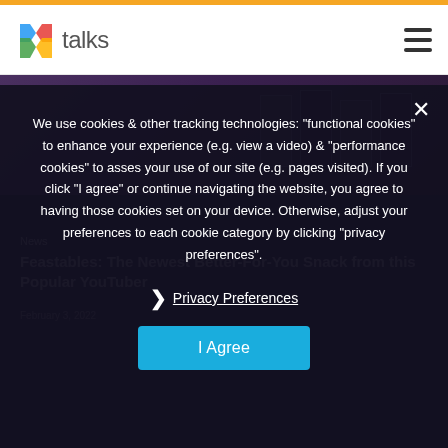Xtalks
We use cookies & other tracking technologies: "functional cookies" to enhance your experience (e.g. view a video) & "performance cookies" to asses your use of our site (e.g. pages visited). If you click "I agree" or continue navigating the website, you agree to having those cookies set on your device. Otherwise, adjust your preferences to each cookie category by clicking "privacy preferences".
Privacy Preferences
I Agree